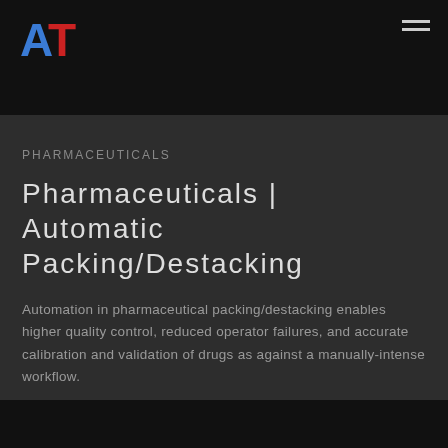[Figure (logo): AT logo with blue A and red T letters]
PHARMACEUTICALS
Pharmaceuticals | Automatic Packing/Destacking
Automation in pharmaceutical packing/destacking enables higher quality control, reduced operator failures, and accurate calibration and validation of drugs as against a manually-intense workflow.